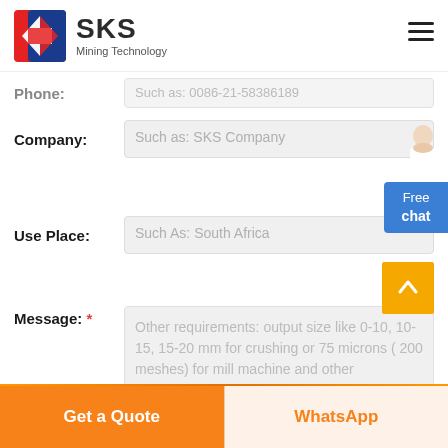[Figure (logo): SKS Mining Technology logo with red and blue shield icon]
Phone:
Such as: 0086-21-58386189
Company:
Such as: SKS Company
Use Place:
Such As: South Africa
Message: *
Other requirements: output size like 0-10, 10-15, 15-20 mm for crushing or 75 microns ( 200 meshes) for mill machine and other requirements.
Get a Quote
WhatsApp
Free chat